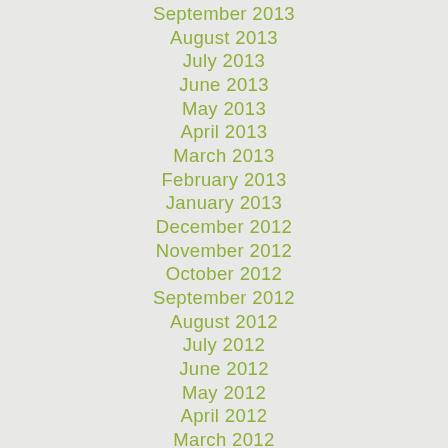September 2013
August 2013
July 2013
June 2013
May 2013
April 2013
March 2013
February 2013
January 2013
December 2012
November 2012
October 2012
September 2012
August 2012
July 2012
June 2012
May 2012
April 2012
March 2012
February 2012